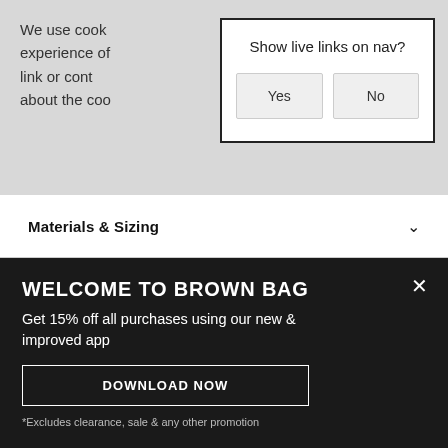We use cook experience of link or cont about the coo
[Figure (screenshot): Modal dialog box with title 'Show live links on nav?' and two buttons: 'Yes' and 'No']
Materials & Sizing
Delivery & Returns
WELCOME TO BROWN BAG
Get 15% off all purchases using our new & improved app
DOWNLOAD NOW
*Excludes clearance, sale & any other promotion